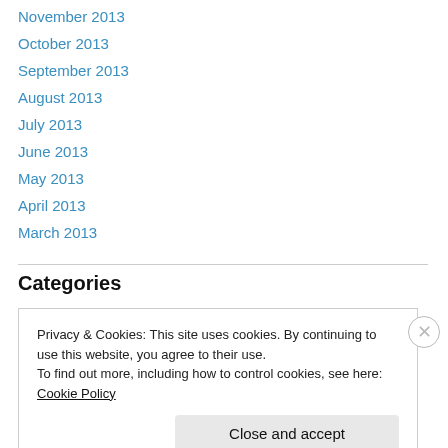November 2013
October 2013
September 2013
August 2013
July 2013
June 2013
May 2013
April 2013
March 2013
Categories
Privacy & Cookies: This site uses cookies. By continuing to use this website, you agree to their use.
To find out more, including how to control cookies, see here: Cookie Policy
Close and accept